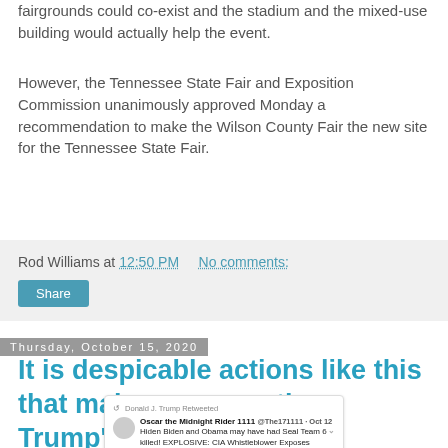fairgrounds could co-exist and the stadium and the mixed-use building would actually help the event.
However, the Tennessee State Fair and Exposition Commission unanimously approved Monday a recommendation to make the Wilson County Fair the new site for the Tennessee State Fair.
Rod Williams at 12:50 PM   No comments:
Share
Thursday, October 15, 2020
It is despicable actions like this that makes me question Trump's fitness to serve.
[Figure (screenshot): Screenshot of a Donald J. Trump Retweet of Oscar the Midnight Rider 1111 @The171111 Oct 12, stating: 'Hiden Biden and Obama may have had Seal Team 6 killed! EXPLOSIVE: CIA Whistleblower Exposes Biden's Alleged Role with the Deaths of Seal Team-Claims to have Documented Proof. RETWEET!!' followed by image thumbnails.]